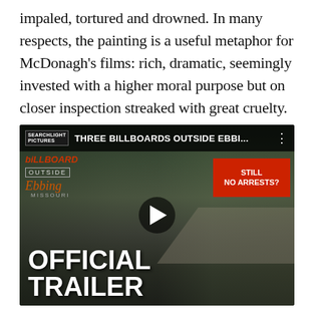impaled, tortured and drowned. In many respects, the painting is a useful metaphor for McDonagh’s films: rich, dramatic, seemingly invested with a higher moral purpose but on closer inspection streaked with great cruelty.
[Figure (screenshot): YouTube video thumbnail for 'Three Billboards Outside Ebbi...' official trailer by Searchlight Pictures. Shows a woman standing on a road with red billboards reading 'STILL NO ARRESTS?' in the background. Large white bold text reads 'OFFICIAL TRAILER' in the lower left. Dark, moody outdoor scene.]